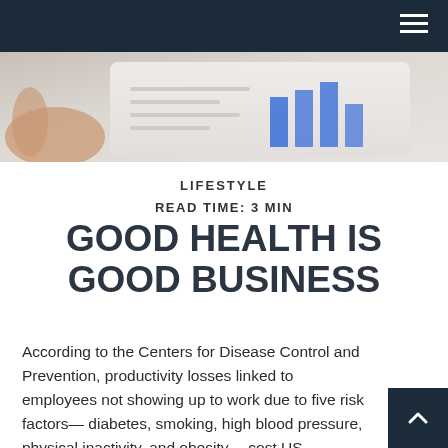[Figure (photo): Header navigation bar with dark navy background and hamburger menu icon in the top right corner]
[Figure (photo): Hero image showing hands holding a tablet with charts and graphs visible on screen, blue bar chart elements visible]
LIFESTYLE
READ TIME: 3 MIN
GOOD HEALTH IS GOOD BUSINESS
According to the Centers for Disease Control and Prevention, productivity losses linked to employees not showing up to work due to five risk factors— diabetes, smoking, high blood pressure, physical inactivity, and obesity— cost US employers $36.4 billion a year.1